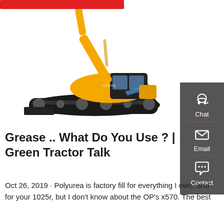[Figure (photo): Orange excavator/digger construction machine on white background]
[Figure (infographic): Dark grey sidebar with Chat (headset icon), Email (envelope icon), and Contact (speech bubble icon) buttons separated by red dividers]
Grease .. What Do You Use ? | Green Tractor Talk
Oct 26, 2019 · Polyurea is factory fill for everything I own, and for your 1025r, but I don't know about the OP's x570. The best